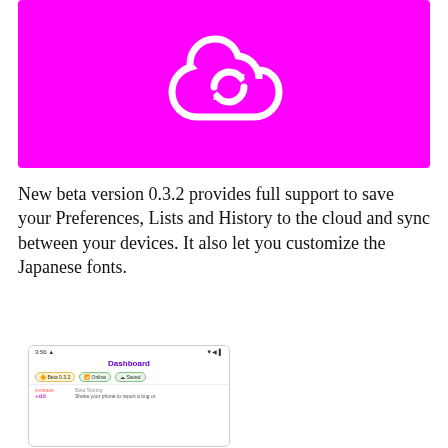[Figure (illustration): Magenta/fuchsia banner with a white cloud-sync icon (cloud shape combined with circular arrows) centered on it]
New beta version 0.3.2 provides full support to save your Preferences, Lists and History to the cloud and sync between your devices. It also let you customize the Japanese fonts.
[Figure (screenshot): Mobile app screenshot showing Dashboard screen with status bar reading 3:56, Beta 0.3.2 badge, Online badge, Saved badge, and a Beta Testing section with text 'Shake your phone to report a bug or' and an 'increase' label with value +dd]